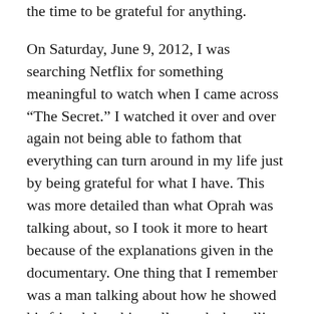the time to be grateful for anything.
On Saturday, June 9, 2012, I was searching Netflix for something meaningful to watch when I came across “The Secret.” I watched it over and over again not being able to fathom that everything can turn around in my life just by being grateful for what I have. This was more detailed than what Oprah was talking about, so I took it more to heart because of the explanations given in the documentary. One thing that I remember was a man talking about how he showed his friend that this really works by telling him that he will get a front row parking spot when they got to where they were going or have to wait for a short